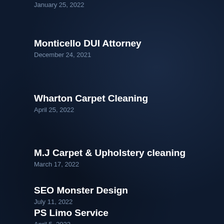January 25, 2022
Monticello DUI Attorney
December 24, 2021
Wharton Carpet Cleaning
April 25, 2022
M.J Carpet & Upholstery cleaning
March 17, 2022
SEO Monster Design
July 11, 2022
PS Limo Service
April 5, 2022